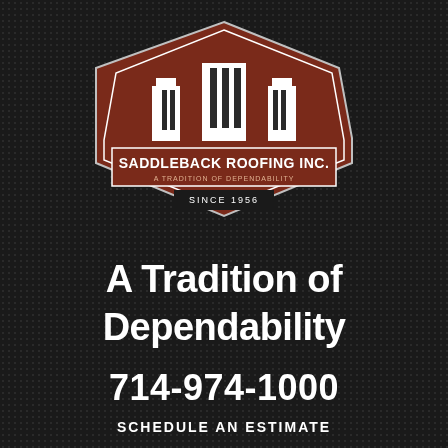[Figure (logo): Saddleback Roofing Inc. logo — dark red hexagonal badge shield shape with white building silhouette icons inside, a rectangular banner reading 'SADDLEBACK ROOFING INC.' in bold white text, subtitle 'A TRADITION OF DEPENDABILITY', and 'SINCE 1956' below on a white ribbon.]
A Tradition of Dependability
714-974-1000
SCHEDULE AN ESTIMATE